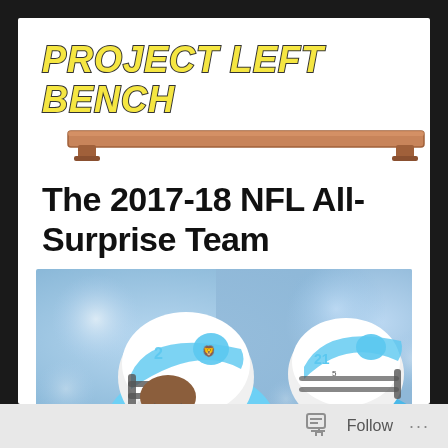[Figure (logo): Project Left Bench logo with yellow bold italic text and a wooden bench illustration below]
The 2017-18 NFL All-Surprise Team
[Figure (photo): Two Detroit Lions players in light blue and white uniforms, one named RIDDICK (#25), celebrating or interacting on field with blurred background]
Follow ...